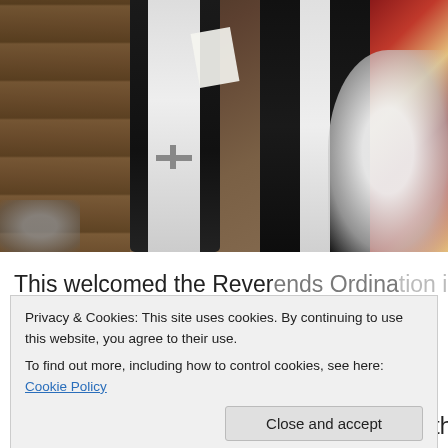[Figure (photo): A church ceremony photograph showing robed priests/clergy in black and white vestments with a colorful robe visible. A blurred white-robed figure is in the right foreground. Wooden pews are visible on the left.]
This welcomed the Reverends Ordination into Mission
Privacy & Cookies: This site uses cookies. By continuing to use this website, you agree to their use.
To find out more, including how to control cookies, see here: Cookie Policy
churches. It was especially good to have the Priest in